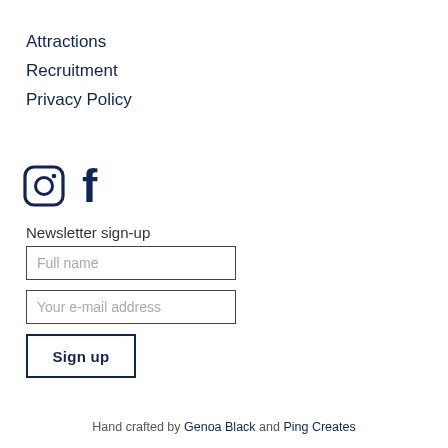Attractions
Recruitment
Privacy Policy
[Figure (illustration): Instagram and Facebook social media icons in dark navy blue]
Newsletter sign-up
Full name
Your e-mail address
Sign up
Hand crafted by Genoa Black and Ping Creates